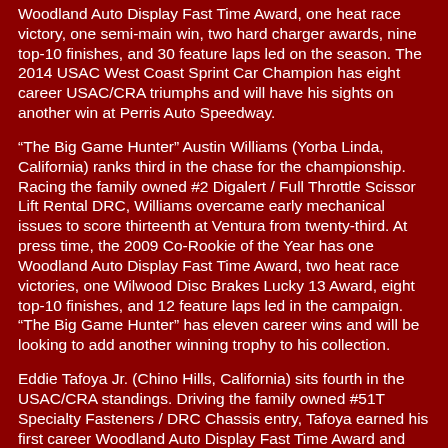Woodland Auto Display Fast Time Award, one heat race victory, one semi-main win, two hard charger awards, nine top-10 finishes, and 30 feature laps led on the season. The 2014 USAC West Coast Sprint Car Champion has eight career USAC/CRA triumphs and will have his sights on another win at Perris Auto Speedway.
“The Big Game Hunter” Austin Williams (Yorba Linda, California) ranks third in the chase for the championship. Racing the family owned #2 Digalert / Full Throttle Scissor Lift Rental DRC, Williams overcame early mechanical issues to score thirteenth at Ventura from twenty-third. At press time, the 2009 Co-Rookie of the Year has one Woodland Auto Display Fast Time Award, two heat race victories, one Wilwood Disc Brakes Lucky 13 Award, eight top-10 finishes, and 12 feature laps led in the campaign. “The Big Game Hunter” has eleven career wins and will be looking to add another winning trophy to his collection.
Eddie Tafoya Jr. (Chino Hills, California) sits fourth in the USAC/CRA standings. Driving the family owned #51T Specialty Fasteners / DRC Chassis entry, Tafoya earned his first career Woodland Auto Display Fast Time Award and placed fifth at Ventura. To date, the 2019 USAC/CRA and USAC SouthWest Rookie of the Year has one Wilwood Disc Brakes Lucky 13 Award and eight top-10 finishes on the season. This Saturday,